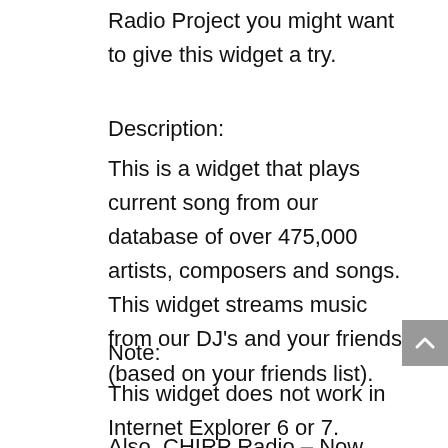Radio Project you might want to give this widget a try.
Description:
This is a widget that plays current song from our database of over 475,000 artists, composers and songs. This widget streams music from our DJ's and your friends (based on your friends list).
Note:
This widget does not work in Internet Explorer 6 or 7.
Also, CHIRP Radio – Now Playing refreshes